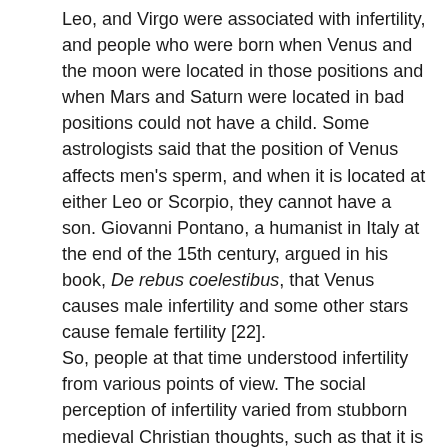Leo, and Virgo were associated with infertility, and people who were born when Venus and the moon were located in those positions and when Mars and Saturn were located in bad positions could not have a child. Some astrologists said that the position of Venus affects men's sperm, and when it is located at either Leo or Scorpio, they cannot have a son. Giovanni Pontano, a humanist in Italy at the end of the 15th century, argued in his book, De rebus coelestibus, that Venus causes male infertility and some other stars cause female fertility [22]. So, people at that time understood infertility from various points of view. The social perception of infertility varied from stubborn medieval Christian thoughts, such as that it is the devil's work, to relatively reasonable and scientifically minded thoughts that the environment plays an important role in pregnancy. Nevertheless, the Datini documents show that ethical, religious, and social criticism on infertility was not strong in urban Italian society in the late Middle Ages. Many people thought of infertility as a disease to be medically treated. That is why people around the Datinis recommended a variety of ways to have a child over the course of 20 years [23]. Although the relatives and acquaintances of the Datinis did